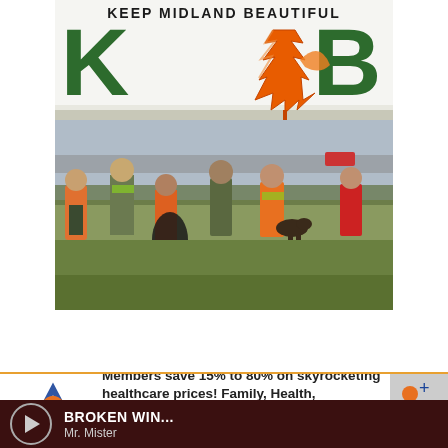[Figure (photo): Keep Midland Beautiful (KMB) logo and photo showing volunteers in safety vests collecting litter along a roadside field. The logo features large green letters 'KMB' with an orange maple leaf, and text 'KEEP MIDLAND BEAUTIFUL' at top.]
[Figure (infographic): Advertisement banner for Advantage healthcare membership. Orange and blue logo with text: 'Members save 15% to 80% on skyrocketing healthcare prices! Family, Health, Advantage! Click Here']
BROKEN WIN... Mr. Mister